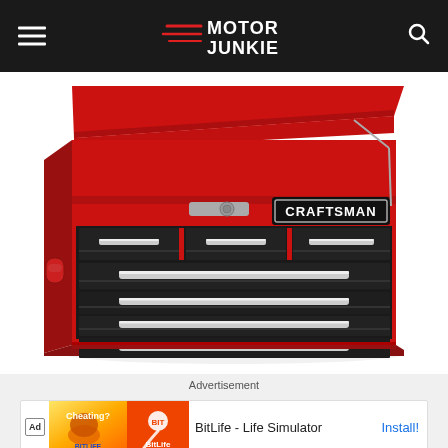Motor Junkie
[Figure (photo): Red and black Craftsman tool chest (top chest) with multiple drawers, chrome drawer pulls, open lid, and Craftsman logo badge on front. The toolbox is displayed on a white background.]
Advertisement
[Figure (screenshot): Mobile app advertisement banner for BitLife - Life Simulator. Shows 'Ad' badge, a cartoon muscle arm graphic on yellow/orange background, BitLife logo on red background with sperm icon, app name 'BitLife - Life Simulator', and 'Install!' button in blue.]